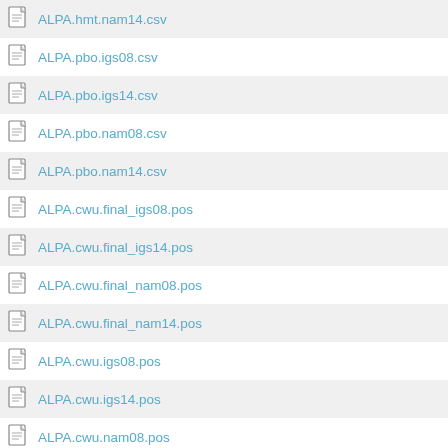ALPA.hmt.nam14.csv
ALPA.pbo.igs08.csv
ALPA.pbo.igs14.csv
ALPA.pbo.nam08.csv
ALPA.pbo.nam14.csv
ALPA.cwu.final_igs08.pos
ALPA.cwu.final_igs14.pos
ALPA.cwu.final_nam08.pos
ALPA.cwu.final_nam14.pos
ALPA.cwu.igs08.pos
ALPA.cwu.igs14.pos
ALPA.cwu.nam08.pos